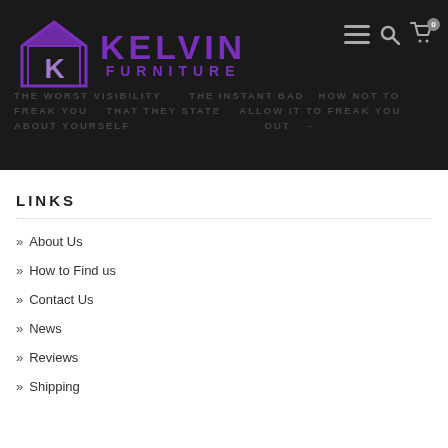[Figure (logo): Kelvin Furniture logo: purple house/K icon with KELVIN FURNITURE text in purple on dark background]
THE WORST VISIBILITY    THE INSTANT BAD HOW NOT TO FREAK YOU ABOUT YOURSELF   THAT THEY STATE   ALLOW IT TO FREAK YOU OUT
LINKS
About Us
How to Find us
Contact Us
News
Reviews
Shipping